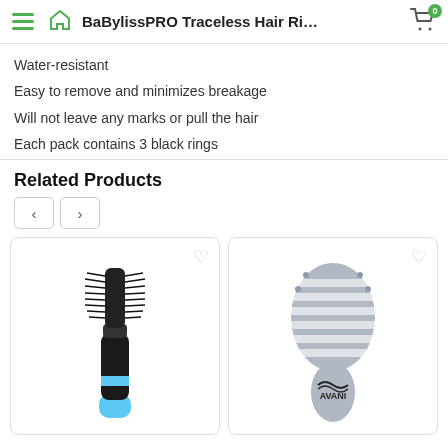BaBylissPRO Traceless Hair Ri…
Water-resistant
Easy to remove and minimizes breakage
Will not leave any marks or pull the hair
Each pack contains 3 black rings
Related Products
[Figure (photo): A round barrel hair brush with black bristles and a blue and black handle]
[Figure (photo): A gray oval-shaped detangling hair brush with slots and a logo at the bottom]